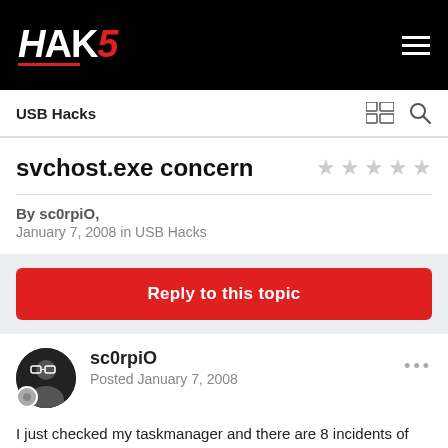HAK5 — USB Hacks
svchost.exe concern
By sc0rpiO, January 7, 2008 in USB Hacks
Reply to this topic
sc0rpiO — Posted January 7, 2008
I just checked my taskmanager and there are 8 incidents of svchost.exe.